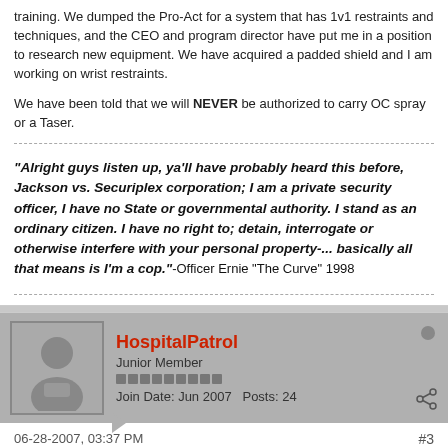training. We dumped the Pro-Act for a system that has 1v1 restraints and techniques, and the CEO and program director have put me in a position to research new equipment. We have acquired a padded shield and I am working on wrist restraints.
We have been told that we will NEVER be authorized to carry OC spray or a Taser.
"Alright guys listen up, ya'll have probably heard this before, Jackson vs. Securiplex corporation; I am a private security officer, I have no State or governmental authority. I stand as an ordinary citizen. I have no right to; detain, interrogate or otherwise interfere with your personal property-... basically all that means is I'm a cop."-Officer Ernie "The Curve" 1998
HospitalPatrol
Junior Member
Join Date: Jun 2007   Posts: 24
06-28-2007, 03:37 PM
#3
It seems like you did the right thing during that incident. You handled yourself well and survived without hurting anyone/getting hurt. That shouldn't be an excuse for remaining complacent with your current lack of training and equipment. Training is important because if you don't learn and practice.